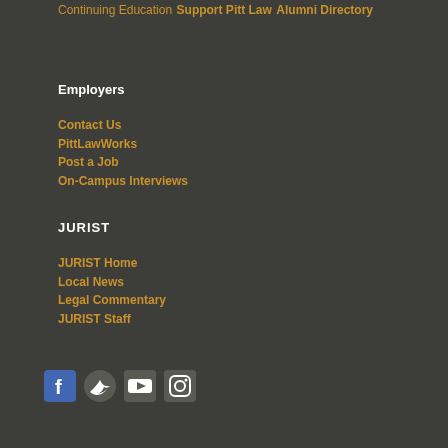Continuing Education
Support Pitt Law
Alumni Directory
Employers
Contact Us
PittLawWorks
Post a Job
On-Campus Interviews
JURIST
JURIST Home
Local News
Legal Commentary
JURIST Staff
[Figure (other): Social media icons: Facebook, Twitter, YouTube, Instagram]